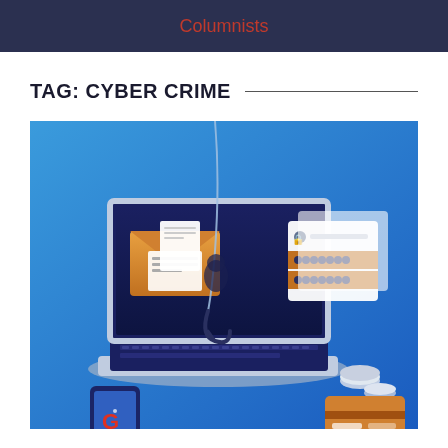Columnists
TAG: CYBER CRIME
[Figure (illustration): Phishing cyber crime illustration showing a laptop with a fishing hook coming out of the screen through an envelope/email, with login credentials popup floating beside it, coins, credit cards, and a smartphone in the foreground, all on a blue gradient background.]